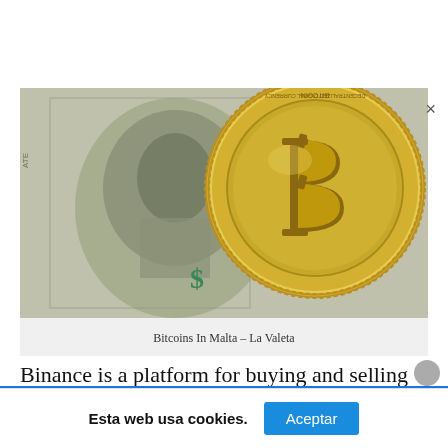[Figure (photo): Photo of a gold Bitcoin coin placed on top of a US dollar bill, showing the Bitcoin 'B' symbol prominently on the gold coin.]
Bitcoins In Malta – La Valeta
Binance is a platform for buying and selling cryptocurrencies. It is currently the leader in the activity
Esta web usa cookies.